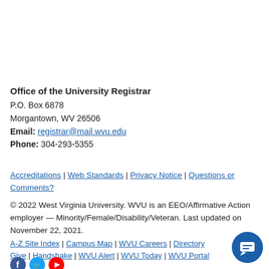Office of the University Registrar
P.O. Box 6878
Morgantown, WV 26506
Email: registrar@mail.wvu.edu
Phone: 304-293-5355
Accreditations | Web Standards | Privacy Notice | Questions or Comments?
© 2022 West Virginia University. WVU is an EEO/Affirmative Action employer — Minority/Female/Disability/Veteran. Last updated on November 22, 2021.
A-Z Site Index | Campus Map | WVU Careers | Directory Give | Handshake | WVU Alert | WVU Today | WVU Portal
[Figure (infographic): Social media icons: Facebook, Twitter, YouTube]